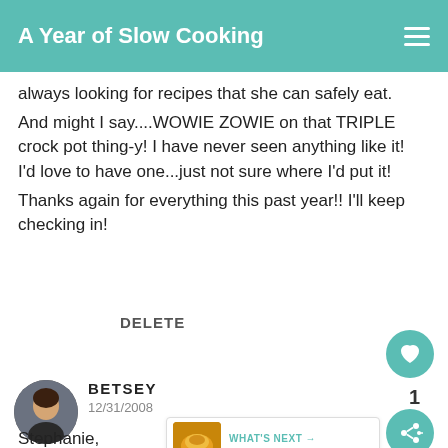A Year of Slow Cooking
always looking for recipes that she can safely eat.
And might I say....WOWIE ZOWIE on that TRIPLE crock pot thing-y! I have never seen anything like it! I'd love to have one...just not sure where I'd put it!
Thanks again for everything this past year!! I'll keep checking in!
DELETE
BETSEY
12/31/2008
Stephanie,
I have shared your blog with my family and friends. I wanted to say a BIG thank you! for all
[Figure (screenshot): What's Next widget showing CrockPot Hamburger... with food image]
[Figure (illustration): Avatar photo of BETSEY commenter, circular portrait]